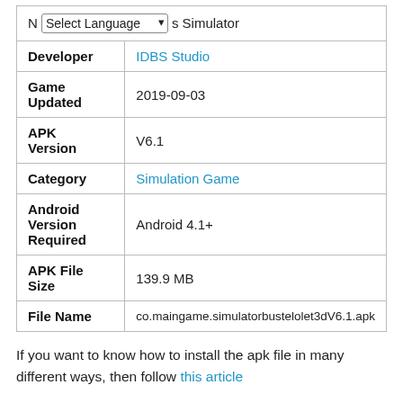| Field | Value |
| --- | --- |
| N [Select Language] s Simulator |  |
| Developer | IDBS Studio |
| Game Updated | 2019-09-03 |
| APK Version | V6.1 |
| Category | Simulation Game |
| Android Version Required | Android 4.1+ |
| APK File Size | 139.9 MB |
| File Name | co.maingame.simulatorbustelolet3dV6.1.apk |
If you want to know how to install the apk file in many different ways, then follow this article